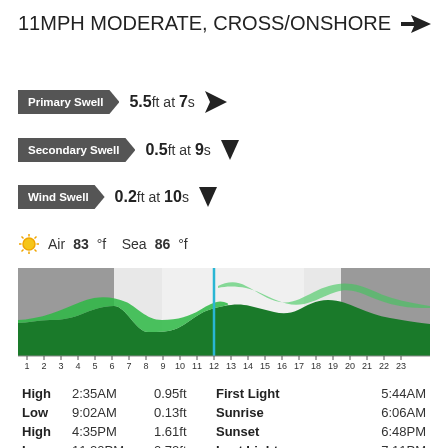11MPH MODERATE, CROSS/ONSHORE
Primary Swell   5.5ft at 7s
Secondary Swell   0.5ft at 9s
Wind Swell   0.2ft at 10s
Air 83°f   Sea 86°f
[Figure (area-chart): Tide chart showing wave height over 24 hours (1-23), with grey shaded night zones, light grey dawn/dusk zones, green area for wave height, and a vertical cyan line at hour 11.]
|  | Time | Height | Event | Time |
| --- | --- | --- | --- | --- |
| High | 2:35AM | 0.95ft | First Light | 5:44AM |
| Low | 9:02AM | 0.13ft | Sunrise | 6:06AM |
| High | 4:35PM | 1.61ft | Sunset | 6:48PM |
| Low | 11:20PM | 0.72ft | Last Light | 7:11PM |
Tide Location San Juan, Puerto Rico - 9.6 miles away